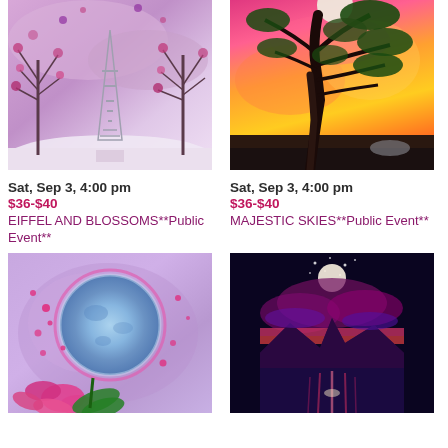[Figure (illustration): Painting of Eiffel Tower surrounded by blossoming trees with purple/pink tones]
[Figure (illustration): Painting of a large tree against a dramatic orange, pink, and yellow sunset sky]
Sat, Sep 3, 4:00 pm
$36-$40
EIFFEL AND BLOSSOMS**Public Event**
Sat, Sep 3, 4:00 pm
$36-$40
MAJESTIC SKIES**Public Event**
[Figure (illustration): Colorful painting of a large moon with pink and green flower on purple background]
[Figure (illustration): Tall narrow painting of a purple-pink sunset over a reflective lake with mountains]